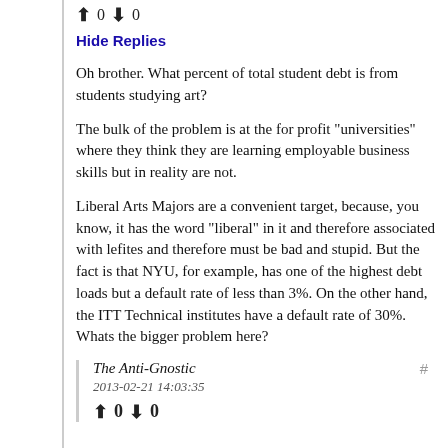↑ 0 ↓ 0
Hide Replies
Oh brother. What percent of total student debt is from students studying art?
The bulk of the problem is at the for profit "universities" where they think they are learning employable business skills but in reality are not.
Liberal Arts Majors are a convenient target, because, you know, it has the word "liberal" in it and therefore associated with lefites and therefore must be bad and stupid. But the fact is that NYU, for example, has one of the highest debt loads but a default rate of less than 3%. On the other hand, the ITT Technical institutes have a default rate of 30%. Whats the bigger problem here?
The Anti-Gnostic
2013-02-21 14:03:35
↑ 0 ↓ 0